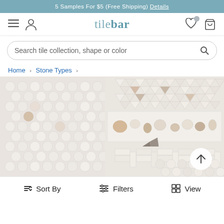5 Samples For $5 (Free Shipping) Details
[Figure (logo): TileBar logo and navigation bar with hamburger menu, person icon, tilebar logo in center, heart icon with badge, and cart icon]
Search tile collection, shape or color
Home > Stone Types >
[Figure (photo): Close-up display of various white and off-white mosaic tile patterns including penny round, triangle, and herringbone styles]
Sort By   Filters   View